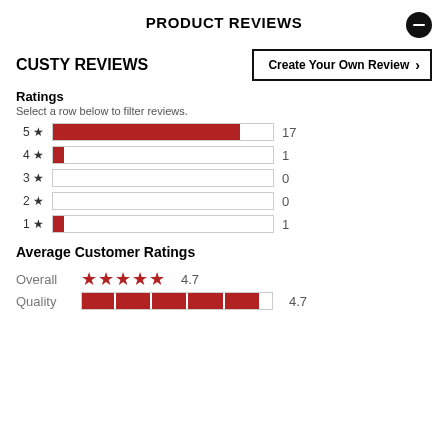PRODUCT REVIEWS
CUSTY REVIEWS
Create Your Own Review >
Ratings
Select a row below to filter reviews.
[Figure (bar-chart): Star Ratings]
Average Customer Ratings
Overall  ★★★★★  4.7
Quality  4.7